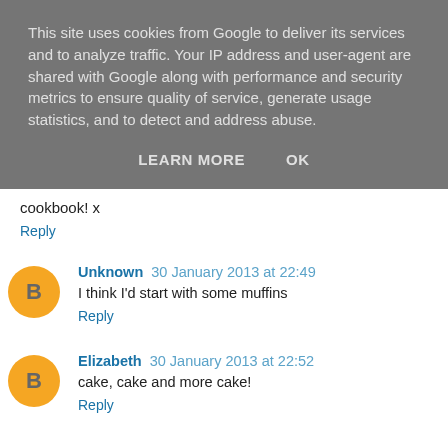This site uses cookies from Google to deliver its services and to analyze traffic. Your IP address and user-agent are shared with Google along with performance and security metrics to ensure quality of service, generate usage statistics, and to detect and address abuse.
LEARN MORE   OK
cookbook! x
Reply
Unknown 30 January 2013 at 22:49
I think I'd start with some muffins
Reply
Elizabeth 30 January 2013 at 22:52
cake, cake and more cake!
Reply